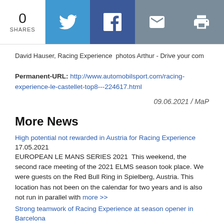[Figure (infographic): Social sharing bar with 0 SHARES count and buttons for Twitter, Facebook, Email, and Print]
David Hauser, Racing Experience  photos Arthur - Drive your com
Permanent-URL: http://www.automobilsport.com/racing-experience-le-castellet-top8---224617.html
09.06.2021 / MaP
More News
High potential not rewarded in Austria for Racing Experience
17.05.2021
EUROPEAN LE MANS SERIES 2021  This weekend, the second race meeting of the 2021 ELMS season took place. We were guests on the Red Bull Ring in Spielberg, Austria. This location has not been on the calendar for two years and is also not run in parallel with more >>
Strong teamwork of Racing Experience at season opener in Barcelona
19.04.2021
EUROPEAN LE MANS SERIES 2021  Replay ELMS 2021 -